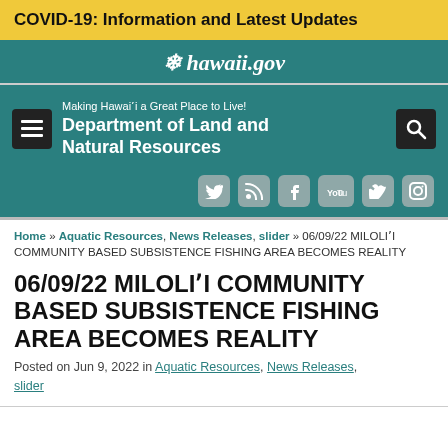COVID-19: Information and Latest Updates
hawaii.gov
Making Hawaiʻi a Great Place to Live! Department of Land and Natural Resources
Home » Aquatic Resources, News Releases, slider » 06/09/22 MILOLIʻI COMMUNITY BASED SUBSISTENCE FISHING AREA BECOMES REALITY
06/09/22 MILOLIʻI COMMUNITY BASED SUBSISTENCE FISHING AREA BECOMES REALITY
Posted on Jun 9, 2022 in Aquatic Resources, News Releases, slider